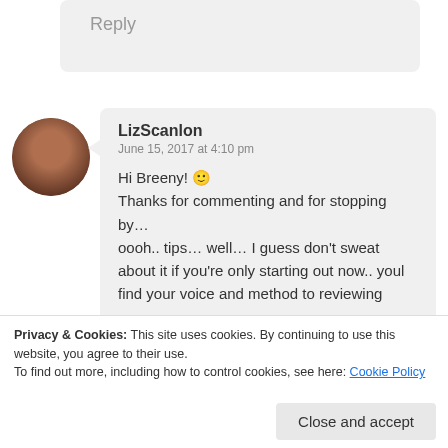Reply
LizScanlon
June 15, 2017 at 4:10 pm

Hi Breeny! 🙂
Thanks for commenting and for stopping by…
oooh.. tips… well… I guess don't sweat about it if you're only starting out now.. youl find your voice and method to reviewing
Privacy & Cookies: This site uses cookies. By continuing to use this website, you agree to their use.
To find out more, including how to control cookies, see here: Cookie Policy
Close and accept